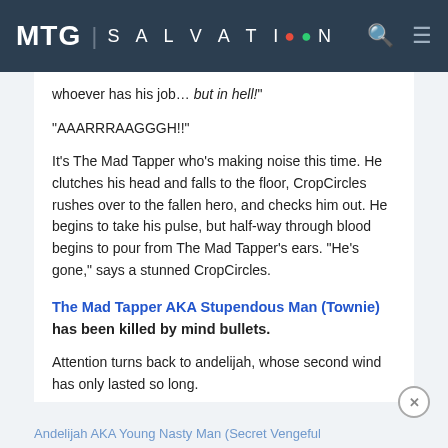MTG | SALVATION
whoever has his job... but in hell!"
"AAARRRAAGGGH!!"
It's The Mad Tapper who's making noise this time. He clutches his head and falls to the floor, CropCircles rushes over to the fallen hero, and checks him out. He begins to take his pulse, but half-way through blood begins to pour from The Mad Tapper's ears. "He's gone," says a stunned CropCircles.
The Mad Tapper AKA Stupendous Man (Townie) has been killed by mind bullets.
Attention turns back to andelijah, whose second wind has only lasted so long.
Andelijah AKA Young Nasty Man (Secret Vengeful